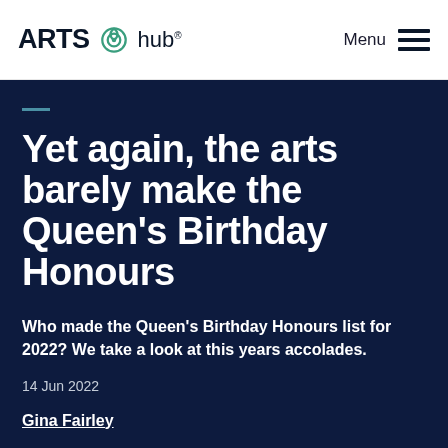ARTS hub®  Menu
Yet again, the arts barely make the Queen's Birthday Honours
Who made the Queen's Birthday Honours list for 2022? We take a look at this years accolades.
14 Jun 2022
Gina Fairley